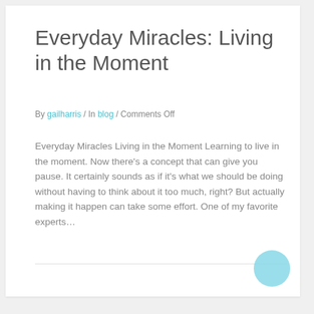Everyday Miracles: Living in the Moment
By gailharris / In blog / Comments Off
Everyday Miracles  Living in the Moment Learning to live in the moment. Now there’s a concept that can give you pause. It certainly sounds as if it’s what we should be doing without having to think about it too much, right? But actually making it happen can take some effort. One of my favorite experts…
Read More